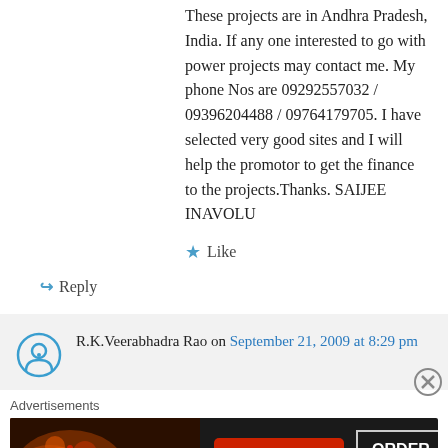These projects are in Andhra Pradesh, India. If any one interested to go with power projects may contact me. My phone Nos are 09292557032 / 09396204488 / 09764179705. I have selected very good sites and I will help the promotor to get the finance to the projects.Thanks. SAIJEE INAVOLU
★ Like
↪ Reply
R.K.Veerabhadra Rao on September 21, 2009 at 8:29 pm
Advertisements
[Figure (screenshot): Seamless food delivery advertisement banner with pizza image, Seamless logo in red, and ORDER NOW button]